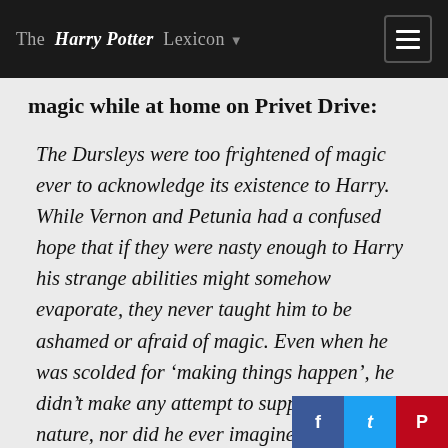The Harry Potter Lexicon
magic while at home on Privet Drive:
The Dursleys were too frightened of magic ever to acknowledge its existence to Harry. While Vernon and Petunia had a confused hope that if they were nasty enough to Harry his strange abilities might somehow evaporate, they never taught him to be ashamed or afraid of magic. Even when he was scolded for ‘making things happen’, he didn’t make any attempt to suppress his true nature, nor did he ever imagine that he had t